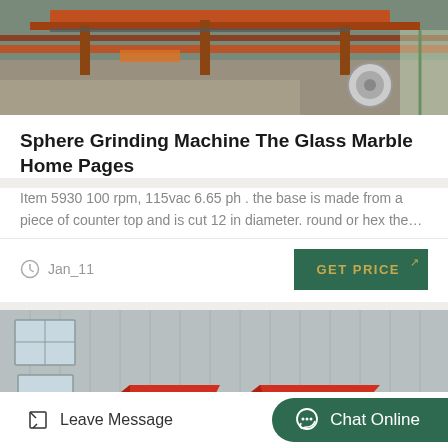[Figure (photo): Industrial machinery/conveyor equipment viewed from above at a worksite, red metal parts visible]
Sphere Grinding Machine The Glass Marble Home Pages
Item 5930 100 rpm, 115vac 6.65 ph . the base is made from a piece of counter top and is cut 12 in diameter. round or hex the…
Jan_11
GET PRICE
[Figure (photo): Industrial impact crusher or processing machine with red hopper components in front of a grey metal warehouse building]
Leave Message
Chat Online